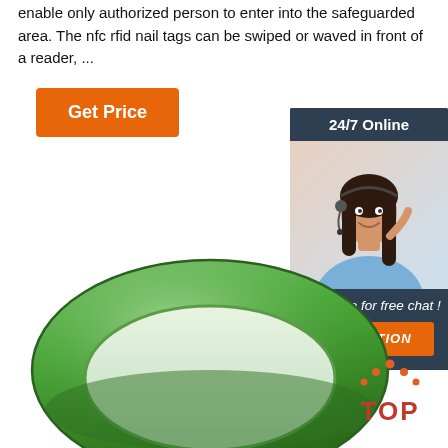enable only authorized person to enter into the safeguarded area. The nfc rfid nail tags can be swiped or waved in front of a reader, ...
Get Price
[Figure (illustration): Sidebar widget with dark blue background, showing '24/7 Online' header, a photo of a smiling woman with headset, 'Click here for free chat!' text, and an orange QUOTATION button]
[Figure (photo): Green silicone RFID wristband bracelet, oval ring shape, viewed from above at an angle]
[Figure (logo): TOP badge with orange dots arranged in a triangle above the word TOP in red bold letters]